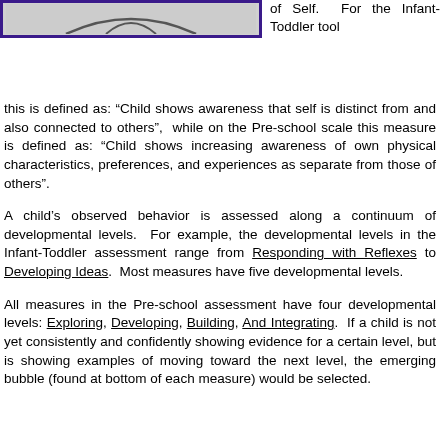[Figure (illustration): An image/illustration at the top left, framed with a dark purple border, showing a partial graphic (appears to be a figure or chart clipped at top).]
of Self. For the Infant-Toddler tool this is defined as: “Child shows awareness that self is distinct from and also connected to others”, while on the Pre-school scale this measure is defined as: “Child shows increasing awareness of own physical characteristics, preferences, and experiences as separate from those of others”.
A child’s observed behavior is assessed along a continuum of developmental levels. For example, the developmental levels in the Infant-Toddler assessment range from Responding with Reflexes to Developing Ideas. Most measures have five developmental levels.
All measures in the Pre-school assessment have four developmental levels: Exploring, Developing, Building, And Integrating. If a child is not yet consistently and confidently showing evidence for a certain level, but is showing examples of moving toward the next level, the emerging bubble (found at bottom of each measure) would be selected.